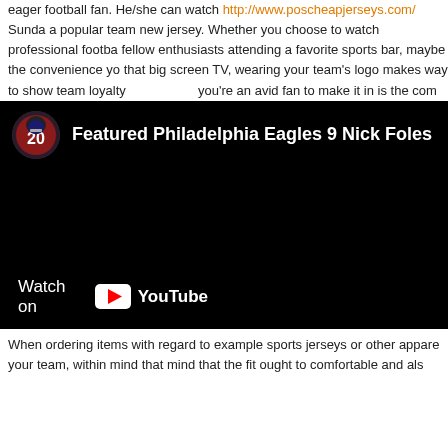eager football fan. He/she can watch http://www.poscheapjerseys.com/ Sunda a popular team new jersey. Whether you choose to watch professional footba fellow enthusiasts attending a favorite sports bar, maybe the convenience yo that big screen TV, wearing your team's logo makes way to show team loyalty you're an avid fan to make it in is the com
[Figure (screenshot): A YouTube video embed showing a video titled 'Featured Philadelphia Eagles 9 Nick Foles Cheap N' with a channel icon showing a football player (number 20) and a 'Watch on YouTube' bar at the bottom.]
When ordering items with regard to example sports jerseys or other appare your team, within mind that mind that the fit ought to comfortable and als